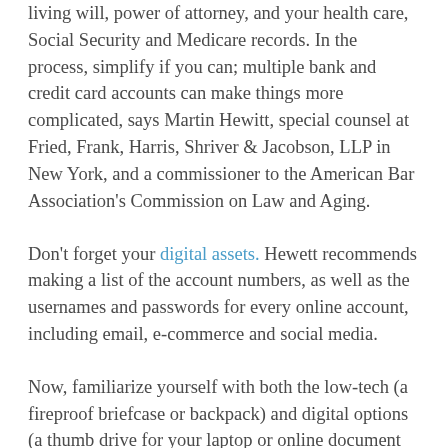living will, power of attorney, and your health care, Social Security and Medicare records. In the process, simplify if you can; multiple bank and credit card accounts can make things more complicated, says Martin Hewitt, special counsel at Fried, Frank, Harris, Shriver & Jacobson, LLP in New York, and a commissioner to the American Bar Association's Commission on Law and Aging.
Don't forget your digital assets. Hewett recommends making a list of the account numbers, as well as the usernames and passwords for every online account, including email, e-commerce and social media.
Now, familiarize yourself with both the low-tech (a fireproof briefcase or backpack) and digital options (a thumb drive for your laptop or online document storage service) for storing this vital information. Tell two individuals how to access these records — as well as extra house and car keys — in the event of